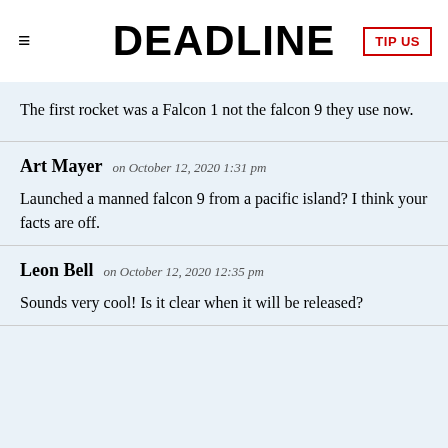DEADLINE | TIP US
The first rocket was a Falcon 1 not the falcon 9 they use now.
Art Mayer on October 12, 2020 1:31 pm
Launched a manned falcon 9 from a pacific island? I think your facts are off.
Leon Bell on October 12, 2020 12:35 pm
Sounds very cool! Is it clear when it will be released?